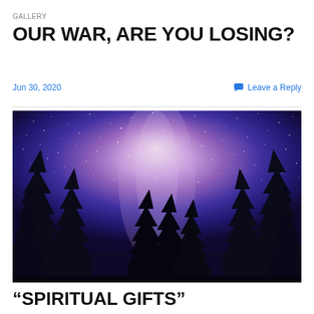GALLERY
OUR WAR, ARE YOU LOSING?
Jun 30, 2020
Leave a Reply
[Figure (photo): Night sky photo showing the Milky Way galaxy with purple and blue hues and star clusters, silhouetted evergreen trees in the foreground]
“SPIRITUAL GIFTS”